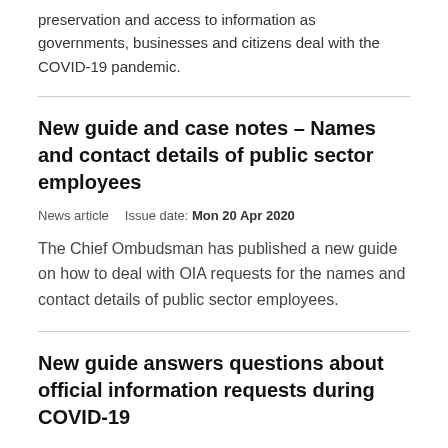preservation and access to information as governments, businesses and citizens deal with the COVID-19 pandemic.
New guide and case notes – Names and contact details of public sector employees
News article   Issue date: Mon 20 Apr 2020
The Chief Ombudsman has published a new guide on how to deal with OIA requests for the names and contact details of public sector employees.
New guide answers questions about official information requests during COVID-19